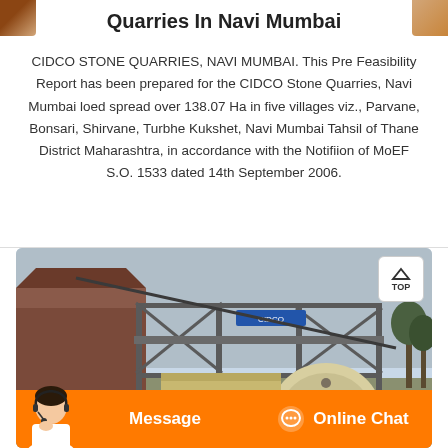Quarries In Navi Mumbai
CIDCO STONE QUARRIES, NAVI MUMBAI. This Pre Feasibility Report has been prepared for the CIDCO Stone Quarries, Navi Mumbai loed spread over 138.07 Ha in five villages viz., Parvane, Bonsari, Shirvane, Turbhe Kukshet, Navi Mumbai Tahsil of Thane District Maharashtra, in accordance with the Notifiion of MoEF S.O. 1533 dated 14th September 2006.
[Figure (photo): Industrial quarry machinery - a large stone crusher or screening machine with metal frame scaffolding, viewed outdoors.]